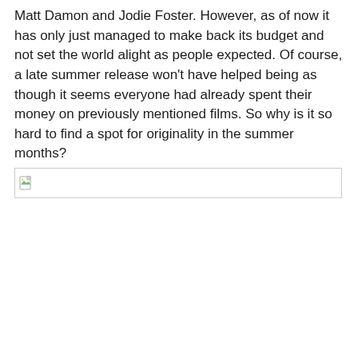Matt Damon and Jodie Foster. However, as of now it has only just managed to make back its budget and not set the world alight as people expected. Of course, a late summer release won't have helped being as though it seems everyone had already spent their money on previously mentioned films. So why is it so hard to find a spot for originality in the summer months?
[Figure (other): A broken/missing image placeholder shown as a small document icon with a torn corner, inside a light grey bordered rectangle.]